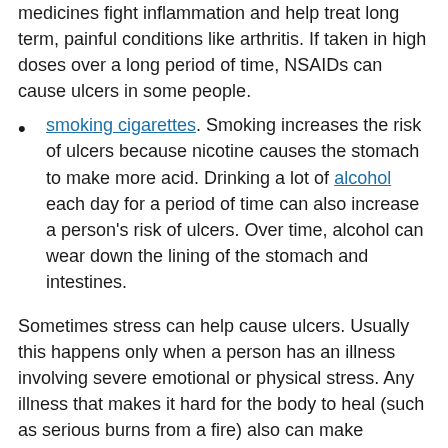medicines fight inflammation and help treat long term, painful conditions like arthritis. If taken in high doses over a long period of time, NSAIDs can cause ulcers in some people.
smoking cigarettes. Smoking increases the risk of ulcers because nicotine causes the stomach to make more acid. Drinking a lot of alcohol each day for a period of time can also increase a person's risk of ulcers. Over time, alcohol can wear down the lining of the stomach and intestines.
Sometimes stress can help cause ulcers. Usually this happens only when a person has an illness involving severe emotional or physical stress. Any illness that makes it hard for the body to heal (such as serious burns from a fire) also can make someone more likely to get an ulcer.